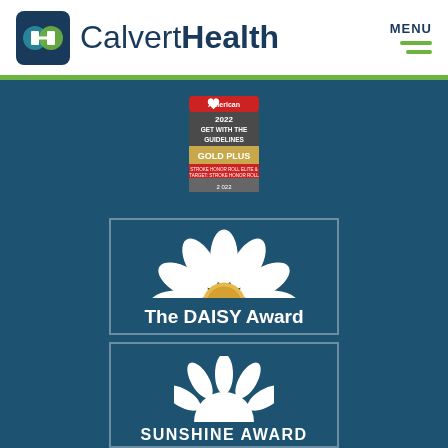[Figure (logo): CalvertHealth logo with stylized H icon in teal and green, text reading CalvertHealth]
[Figure (infographic): 2022 Get With The Guidelines Gold Plus award badge from American Heart Association]
[Figure (infographic): The DAISY Award card with white daisy flower photo, text: The DAISY Award, Nominate a nurse today!]
[Figure (infographic): Sunshine Award card with white sun/flower logo, text: SUNSHINE AWARD, Click Here to Nominate!]